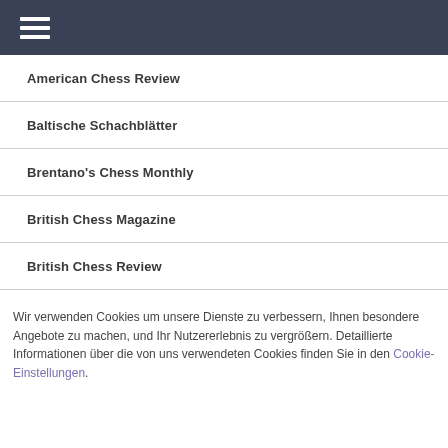≡
American Chess Review
Baltische Schachblätter
Brentano's Chess Monthly
British Chess Magazine
British Chess Review
Wir verwenden Cookies um unsere Dienste zu verbessern, Ihnen besondere Angebote zu machen, und Ihr Nutzererlebnis zu vergrößern. Detaillierte Informationen über die von uns verwendeten Cookies finden Sie in den Cookie-Einstellungen.